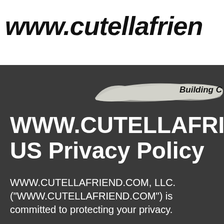[Figure (logo): Handwritten logo text reading 'www.cutellafrien' (partially cropped) in black marker-style handwriting on white background]
[Figure (illustration): White paint brush stroke with bold italic text 'Building C' (partially cropped) on dark gray background]
WWW.CUTELLAFRIEN
US Privacy Policy
WWW.CUTELLAFRIEND.COM, LLC. ("WWW.CUTELLAFRIEND.COM") is committed to protecting your privacy.